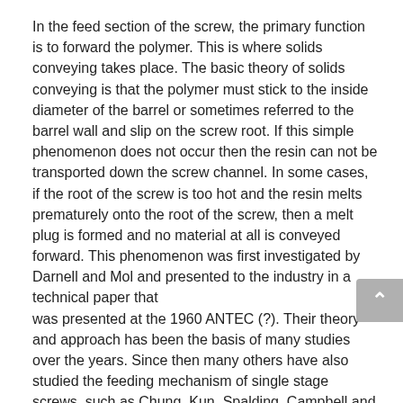In the feed section of the screw, the primary function is to forward the polymer. This is where solids conveying takes place. The basic theory of solids conveying is that the polymer must stick to the inside diameter of the barrel or sometimes referred to the barrel wall and slip on the screw root. If this simple phenomenon does not occur then the resin can not be transported down the screw channel. In some cases, if the root of the screw is too hot and the resin melts prematurely onto the root of the screw, then a melt plug is formed and no material at all is conveyed forward. This phenomenon was first investigated by Darnell and Mol and presented to the industry in a technical paper that was presented at the 1960 ANTEC (?). Their theory and approach has been the basis of many studies over the years. Since then many others have also studied the feeding mechanism of single stage screws, such as Chung, Kun, Spalding, Campbell and others. But after many dollars of research with very similar conclusions, one item hasn't changed and that is, the resin must stick to the barrel wall and slip on the screw in order for the resin to be forward.
Sometimes it is possible to enhance the slippage of the resin